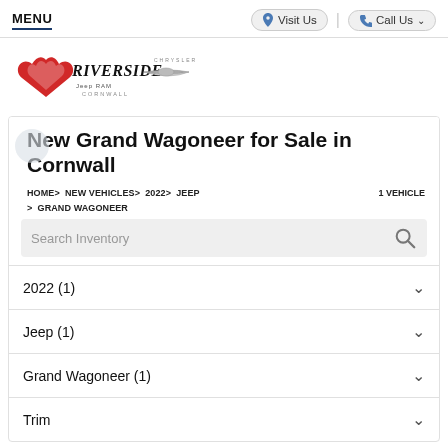MENU | Visit Us | Call Us
[Figure (logo): Riverside Chrysler Jeep RAM Cornwall dealership logo]
New Grand Wagoneer for Sale in Cornwall
HOME > NEW VEHICLES > 2022 > JEEP > GRAND WAGONEER
1 VEHICLE
Search Inventory
2022 (1)
Jeep (1)
Grand Wagoneer (1)
Trim